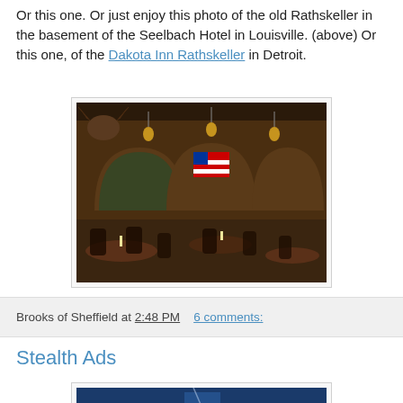Or this one. Or just enjoy this photo of the old Rathskeller in the basement of the Seelbach Hotel in Louisville. (above) Or this one, of the Dakota Inn Rathskeller in Detroit.
[Figure (photo): Interior photo of the Dakota Inn Rathskeller in Detroit, showing tables, chairs, arched murals on walls, an American flag, hanging lanterns, and dark wood decor.]
Brooks of Sheffield at 2:48 PM   6 comments:
Stealth Ads
[Figure (photo): Partial photo visible at bottom of page, showing a blue-toned image.]